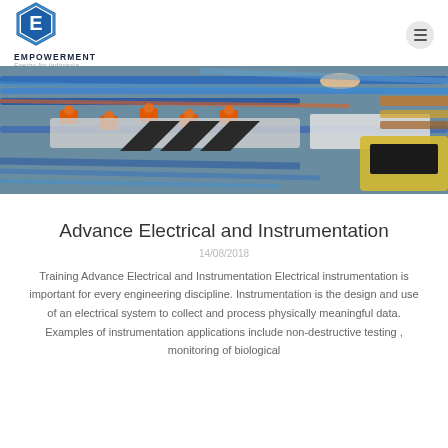[Figure (logo): Empowerment Energy for Indonesia hexagon logo with letter E, blue gradient colors]
EMPOWERMENT Energy for Indonesia
[Figure (photo): Close-up photo of electrical wiring, terminals, circuit breakers and instrumentation components with colorful cables]
Advance Electrical and Instrumentation
14/08/2018
Training Advance Electrical and Instrumentation Electrical instrumentation is important for every engineering discipline. Instrumentation is the design and use of an electrical system to collect and process physically meaningful data. Examples of instrumentation applications include non-destructive testing , monitoring of biological